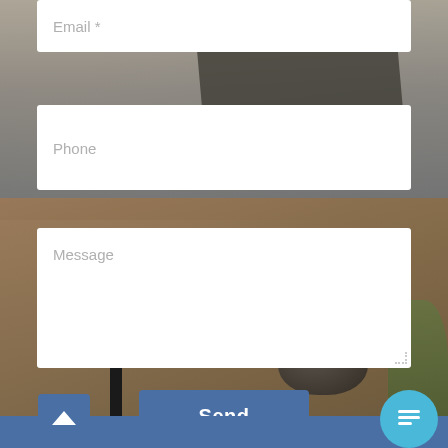[Figure (screenshot): Website contact form over a blurred living room background with sofa, cushions, bowl, plant, and wooden coffee table. Form fields for Email, Phone, and Message are visible along with a Send button and bottom navigation bar with back-to-top and chat icons.]
Email *
Phone
Message
Send